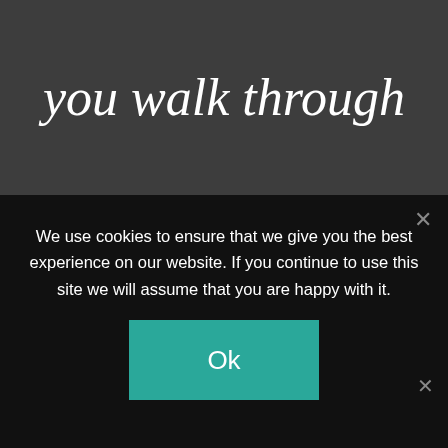consultation. If you walk through and don't like
We use cookies to ensure that we give you the best experience on our website. If you continue to use this site we will assume that you are happy with it.
Ok
Spread the message. Stop the virus.
HANDS Wash often   ELBOW Cough into   FACE Don't touch   SPACE Avoid crowds   HOME Stay inside
2,561,043 Confirmed   679,819 Recovered